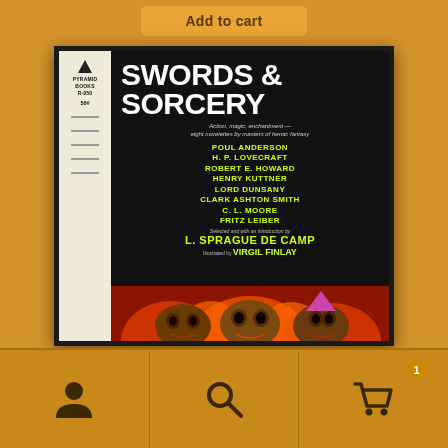[Figure (screenshot): Add to cart button at top of page on orange background]
[Figure (photo): Book cover of 'Swords & Sorcery' published by Pyramid Books (R-950, 50c). Cover shows title in large white text, subtitle 'Action, magic, enchantment — eight novelettes by masters of heroic fantasy', authors listed in yellow: Poul Anderson, H.P. Lovecraft, Robert E. Howard, Henry Kuttner, Lord Dunsany, Clark Ashton Smith, C.L. Moore, Fritz Leiber. Selected and with an introduction by L. Sprague De Camp. Illustrated by Virgil Finlay. Bottom shows demonic faces in fire artwork.]
[Figure (infographic): Bottom navigation bar with three icons: user/person icon, search/magnifying glass icon, and shopping cart icon with badge showing '1']